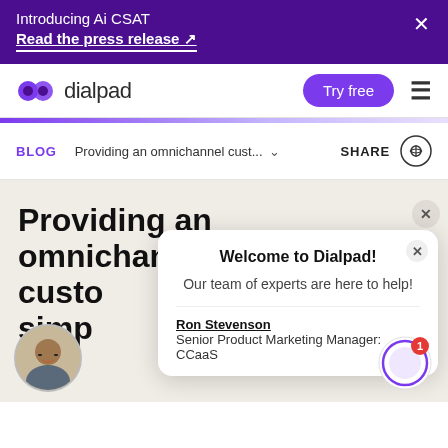Introducing Ai CSAT
Read the press release ↗
[Figure (screenshot): Dialpad logo with purple speech bubble icon and text 'dialpad']
Try free
BLOG  Providing an omnichannel cust...  ∨  SHARE  🔗
Providing an omnichannel custo simp
[Figure (photo): Ron Stevenson headshot - man with glasses smiling]
Ron Stevenson
Senior Product Marketing Manager: CCaaS
Welcome to Dialpad!
Our team of experts are here to help!